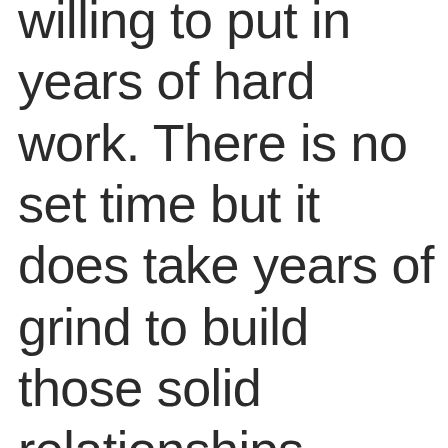willing to put in years of hard work. There is no set time but it does take years of grind to build those solid relationships.